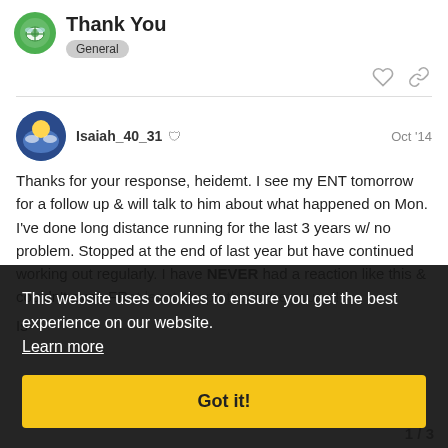Thank You — General
Isaiah_40_31 Oct '14
Thanks for your response, heidemt. I see my ENT tomorrow for a follow up & will talk to him about what happened on Mon. I've done long distance running for the last 3 years w/ no problem. Stopped at the end of last year but have continued working out regularly. I have NEVER had a reaction like this & couldn't even FRat least I hope that's the cause!!
Is
This website uses cookies to ensure you get the best experience on our website. Learn more Got it!
1 / 3